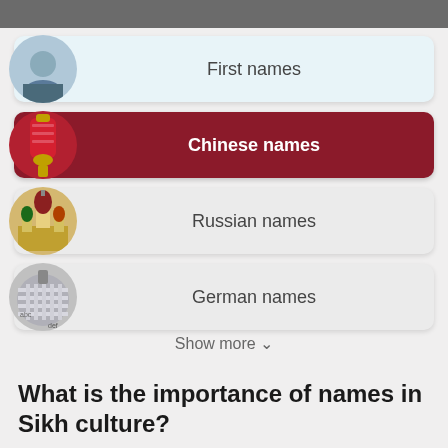First names
Chinese names
Russian names
German names
Show more ∨
What is the importance of names in Sikh culture?